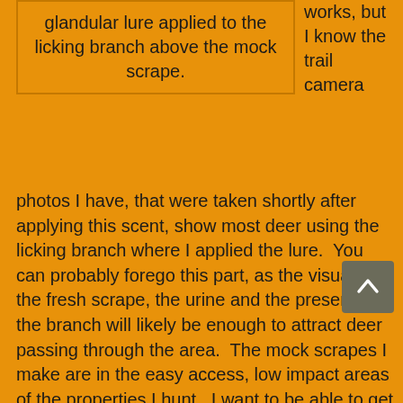glandular lure applied to the licking branch above the mock scrape.
works, but I know the trail camera photos I have, that were taken shortly after applying this scent, show most deer using the licking branch where I applied the lure.  You can probably forego this part, as the visual of the fresh scrape, the urine and the presence of the branch will likely be enough to attract deer passing through the area.  The mock scrapes I make are in the easy access, low impact areas of the properties I hunt.  I want to be able to get in and out to check the use of the mock scrape without disturbing deer.  Since my mock scrapes aren't located near my treestands, I will put a no-flash trail camera over them to monitor the deer using the scrape.  Being able to slip into these areas to exchange memory cards without impacting the deer you are hunting is
[Figure (other): Scroll-to-top button with upward chevron arrow on gray background]